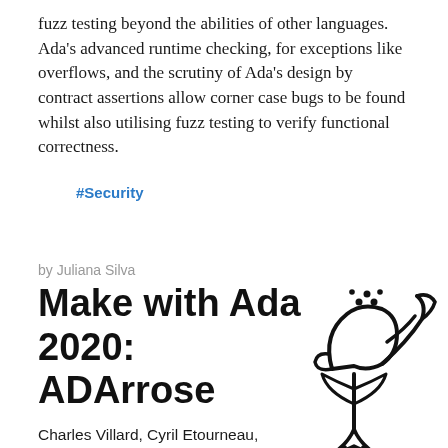fuzz testing beyond the abilities of other languages. Ada's advanced runtime checking, for exceptions like overflows, and the scrutiny of Ada's design by contract assertions allow corner case bugs to be found whilst also utilising fuzz testing to verify functional correctness.
#Security
by Juliana Silva
Make with Ada 2020: ADArrose
Charles Villard, Cyril Etourneau, Thomas Delecroix, Louise Flick worked together in the ADArrose project. It won the student prize in the Make with Ada 2019/20 competition. This project was originally posted on Hackster.io here. For those